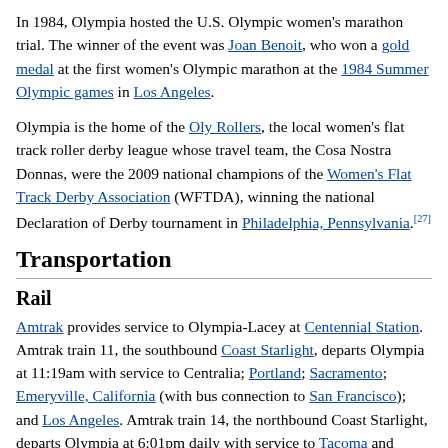In 1984, Olympia hosted the U.S. Olympic women's marathon trial. The winner of the event was Joan Benoit, who won a gold medal at the first women's Olympic marathon at the 1984 Summer Olympic games in Los Angeles.
Olympia is the home of the Oly Rollers, the local women's flat track roller derby league whose travel team, the Cosa Nostra Donnas, were the 2009 national champions of the Women's Flat Track Derby Association (WFTDA), winning the national Declaration of Derby tournament in Philadelphia, Pennsylvania.[27]
Transportation
Rail
Amtrak provides service to Olympia-Lacey at Centennial Station. Amtrak train 11, the southbound Coast Starlight, departs Olympia at 11:19am with service to Centralia; Portland; Sacramento; Emeryville, California (with bus connection to San Francisco); and Los Angeles. Amtrak train 14, the northbound Coast Starlight, departs Olympia at 6:01pm daily with service to Tacoma and Seattle. Amtrak Cascades trains, operating as far north as Vancouver, and from the Eugene, Oregon to Olympia...